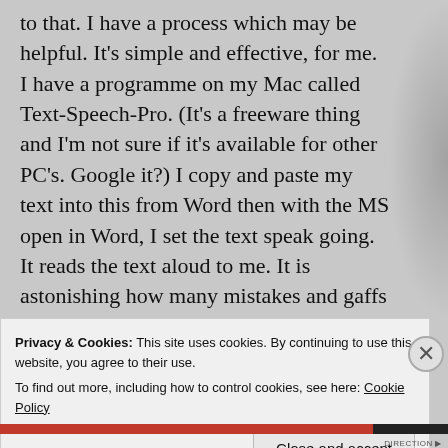to that. I have a process which may be helpful. It's simple and effective, for me. I have a programme on my Mac called Text-Speech-Pro. (It's a freeware thing and I'm not sure if it's available for other PC's. Google it?) I copy and paste my text into this from Word then with the MS open in Word, I set the text speak going. It reads the text aloud to me. It is astonishing how many mistakes and gaffs get picked up when one hears it as well as sees the
Privacy & Cookies: This site uses cookies. By continuing to use this website, you agree to their use.
To find out more, including how to control cookies, see here: Cookie Policy
Close and accept